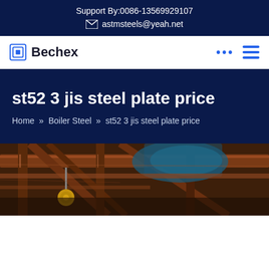Support By:0086-13569929107
astmsteels@yeah.net
Bechex
st52 3 jis steel plate price
Home » Boiler Steel » st52 3 jis steel plate price
[Figure (photo): Industrial steel manufacturing facility interior showing overhead crane and rusty steel beams with blue lighting in background]